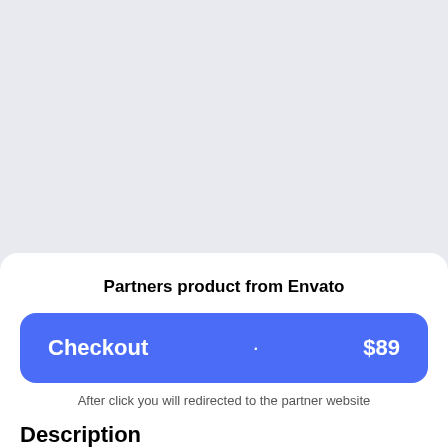Partners product from Envato
Checkout · $89
After click you will redirected to the partner website
Description